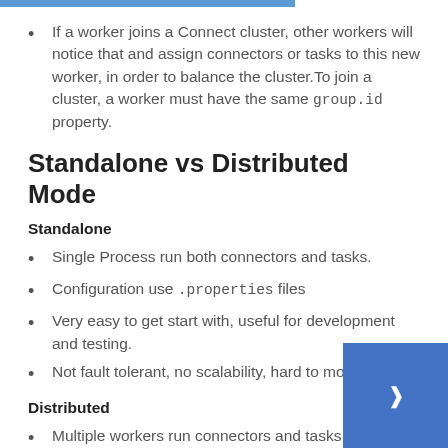If a worker joins a Connect cluster, other workers will notice that and assign connectors or tasks to this new worker, in order to balance the cluster. To join a cluster, a worker must have the same group.id property.
Standalone vs Distributed Mode
Standalone
Single Process run both connectors and tasks.
Configuration use .properties files
Very easy to get start with, useful for development and testing.
Not fault tolerant, no scalability, hard to monitor
Distributed
Multiple workers run connectors and tasks